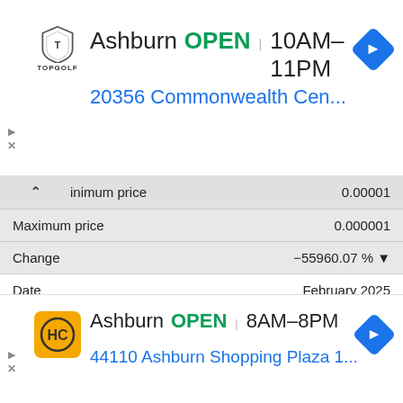[Figure (infographic): Topgolf advertisement banner: logo, Ashburn OPEN 10AM-11PM, 20356 Commonwealth Cen... with navigation arrow]
| Field | Value |
| --- | --- |
| [Minimum price] | 0.00001 |
| Maximum price | 0.000001 |
| Change | -55960.07 % ▼ |
| Date | February 2025 |
| Minimum price | 0.0344 |
| Maximum price | 10.118 |
| Change | 95.04 % ▲ |
[Figure (infographic): HC auto service advertisement banner: logo, Ashburn OPEN 8AM-8PM, 44110 Ashburn Shopping Plaza 1... with navigation arrow]